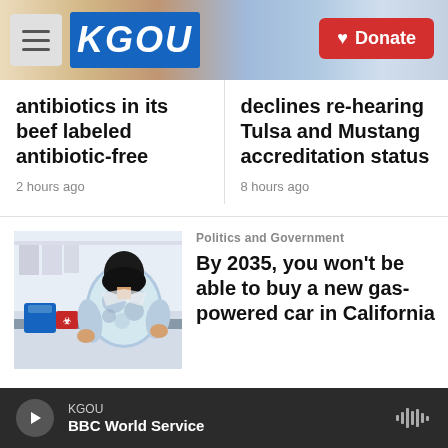KGOU | Donate
antibiotics in its beef labeled antibiotic-free
2 hours ago
declines re-hearing Tulsa and Mustang accreditation status
8 hours ago
[Figure (photo): Person in lab coat working with samples in a laboratory, viewed from behind]
Politics and Government
By 2035, you won't be able to buy a new gas-powered car in California
KGOU BBC World Service